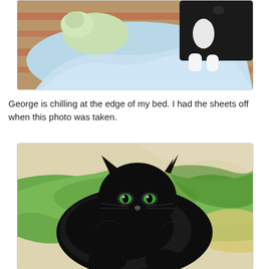[Figure (photo): A tuxedo cat sitting at the edge of a bed with light blue sheets/blanket partially off, and a stuffed animal visible. Colorful patterned fabric in background.]
George is chilling at the edge of my bed. I had the sheets off when this photo was taken.
[Figure (photo): A large fluffy black cat with green eyes lying on a bed covered with green and cream/yellow blankets, looking directly at the camera.]